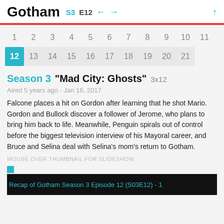Gotham S3 E12
[Figure (other): Episode navigation grid showing episode numbers 1-21 with episode 12 highlighted in teal/cyan]
Season 3 "Mad City: Ghosts" 3x12
Aired 5 years ago - Jan 16, 2017
Falcone places a hit on Gordon after learning that he shot Mario. Gordon and Bullock discover a follower of Jerome, who plans to bring him back to life. Meanwhile, Penguin spirals out of control before the biggest television interview of his Mayoral career, and Bruce and Selina deal with Selina's mom's return to Gotham.
MOUSE OVER THUMBNAIL FOR SLIDESHOW
[Figure (screenshot): Recap of Gotham Season 3 Episode 12 (S03E12) - 1 thumbnail image with dark background]